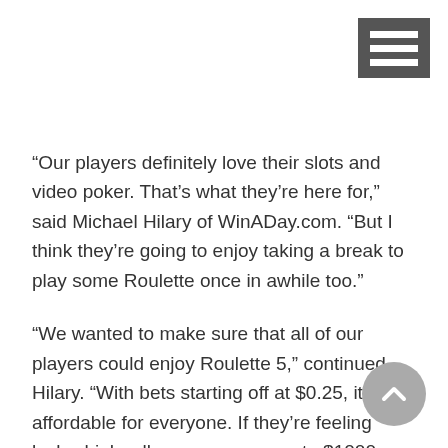[Figure (other): Hamburger menu icon — dark grey square with three white horizontal bars]
“Our players definitely love their slots and video poker. That’s what they’re here for,” said Michael Hilary of WinADay.com. “But I think they’re going to enjoy taking a break to play some Roulette once in awhile too.”
“We wanted to make sure that all of our players could enjoy Roulette 5,” continued Hilary. “With bets starting off at $0.25, it’s affordable for everyone. If they’re feeling lucky, high rollers can wager up to $1000 per wheel for a max bet of $5000 on one spin.”
[Figure (other): Back-to-top button — grey circle with white upward chevron arrow]